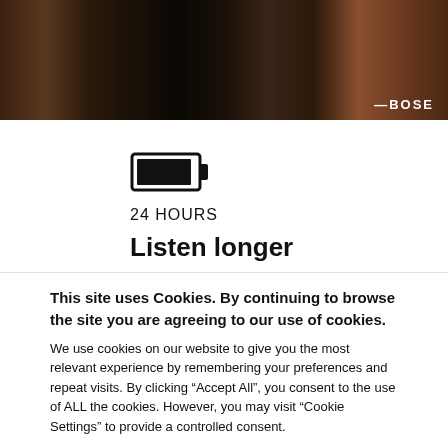[Figure (photo): Bose product/lifestyle photo showing audio equipment on a desk in a dark-toned room. Bose logo visible in lower right corner.]
[Figure (illustration): Battery icon (fully charged) indicating 24-hour battery life]
24 HOURS
Listen longer
This site uses Cookies. By continuing to browse the site you are agreeing to our use of cookies.
We use cookies on our website to give you the most relevant experience by remembering your preferences and repeat visits. By clicking "Accept All", you consent to the use of ALL the cookies. However, you may visit "Cookie Settings" to provide a controlled consent.
Cookie Settings
Accept All